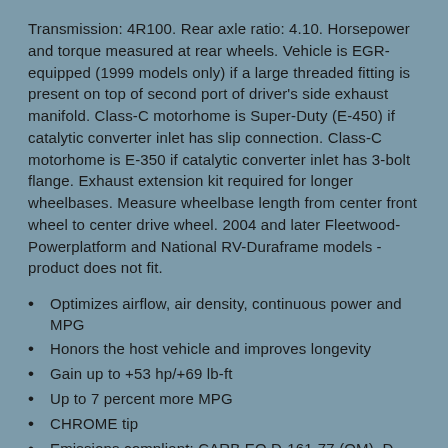Transmission: 4R100. Rear axle ratio: 4.10. Horsepower and torque measured at rear wheels. Vehicle is EGR-equipped (1999 models only) if a large threaded fitting is present on top of second port of driver's side exhaust manifold. Class-C motorhome is Super-Duty (E-450) if catalytic converter inlet has slip connection. Class-C motorhome is E-350 if catalytic converter inlet has 3-bolt flange. Exhaust extension kit required for longer wheelbases. Measure wheelbase length from center front wheel to center drive wheel. 2004 and later Fleetwood-Powerplatform and National RV-Duraframe models - product does not fit.
Optimizes airflow, air density, continuous power and MPG
Honors the host vehicle and improves longevity
Gain up to +53 hp/+69 lb-ft
Up to 7 percent more MPG
CHROME tip
Emissions compliant: CARB EO D-161-77 (OM), D-161-78 (TT)
Fits Class-C, E-350 EGR-equipped